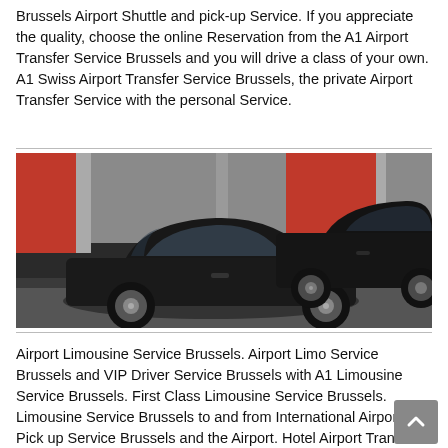Brussels Airport Shuttle and pick-up Service. If you appreciate the quality, choose the online Reservation from the A1 Airport Transfer Service Brussels and you will drive a class of your own. A1 Swiss Airport Transfer Service Brussels, the private Airport Transfer Service with the personal Service.
[Figure (photo): Two black luxury sedan cars parked in front of a building with red panels, viewed from the side/front angle.]
Airport Limousine Service Brussels. Airport Limo Service Brussels and VIP Driver Service Brussels with A1 Limousine Service Brussels. First Class Limousine Service Brussels. Limousine Service Brussels to and from International Airport. Pick up Service Brussels and the Airport. Hotel Airport Transfer Service Brussels. Business Limousine Service